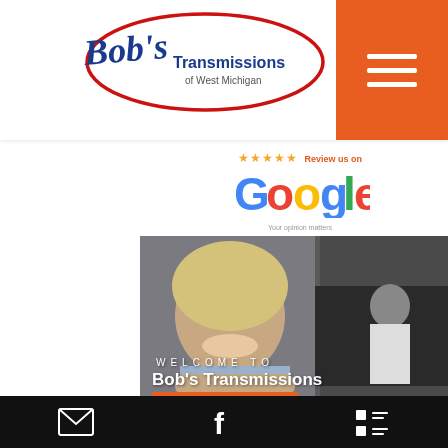[Figure (logo): Bob's Transmissions of West Michigan logo with red oval outline and blue script text]
[Figure (logo): Google review widget: 5 gold stars, 'Review us on Google', 'Your opinion matters']
[Figure (photo): Hero photo of smiling blonde woman in auto shop with mechanic working on car in background. Overlay text: WELCOME TO Bob's Transmissions Of West Michigan]
Customer Service
[Figure (infographic): Black bottom navigation bar with email, Facebook, and list/menu icons]